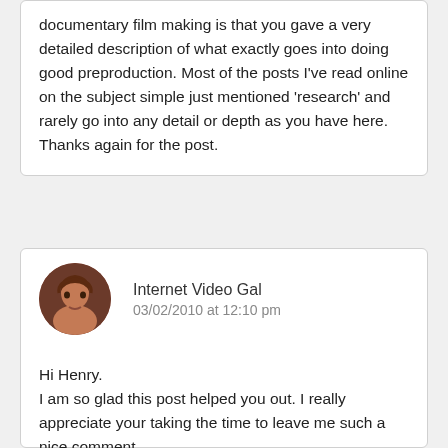documentary film making is that you gave a very detailed description of what exactly goes into doing good preproduction. Most of the posts I've read online on the subject simple just mentioned 'research' and rarely go into any detail or depth as you have here. Thanks again for the post.
Internet Video Gal
03/02/2010 at 12:10 pm
Hi Henry.
I am so glad this post helped you out. I really appreciate your taking the time to leave me such a nice comment.